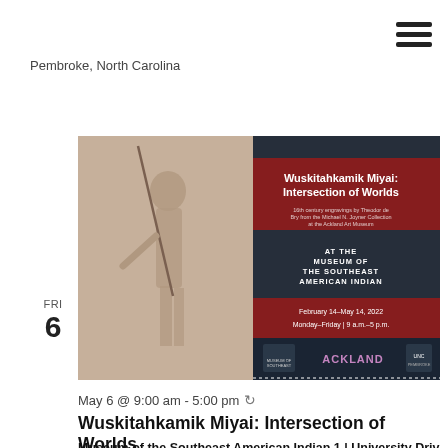Pembroke, North Carolina
FRI
6
[Figure (photo): Event poster for 'Wuskitahkamik Miyai: Intersection of Worlds' at the Museum of the Southeast American Indian. Shows 16th century engraving of a Native American warrior with spear, overlaid with dark navy and red panels containing exhibition title, subtitle, venue, and dates (February 14–May 14, 2022, Monday–Friday 9 a.m.–5 p.m.). Bottom logos include Museum of the Southeast American Indian, Ackland, and UNC Pembroke.]
May 6 @ 9:00 am - 5:00 pm
Wuskitahkamik Miyai: Intersection of Worlds
Museum of the Southeast American Indian 1 | University Drive